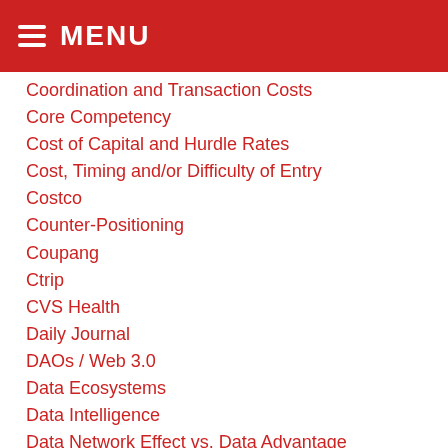MENU
Coordination and Transaction Costs
Core Competency
Cost of Capital and Hurdle Rates
Cost, Timing and/or Difficulty of Entry
Costco
Counter-Positioning
Coupang
Ctrip
CVS Health
Daily Journal
DAOs / Web 3.0
Data Ecosystems
Data Intelligence
Data Network Effect vs. Data Advantage
Data visibility and analytics
Delivery Hero / Foodpanda
Demand Purification
DHL
Didi
Digital and Information Economics